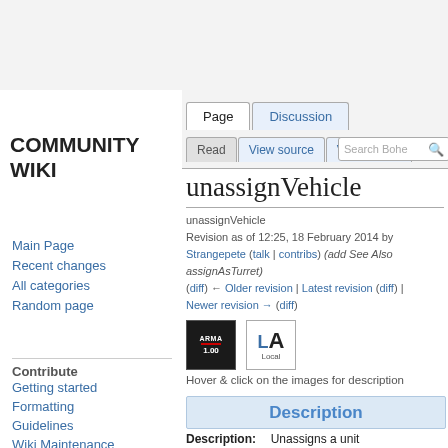COMMUNITY WIKI
Main Page
Recent changes
All categories
Random page
Contribute
Getting started
Formatting
Guidelines
Wiki Maintenance
Templates Overview
MediaWiki help
unassignVehicle
unassignVehicle
Revision as of 12:25, 18 February 2014 by Strangepete (talk | contribs) (add See Also assignAsTurret)
(diff) ← Older revision | Latest revision (diff) | Newer revision → (diff)
[Figure (screenshot): ARMA 1.00 icon and LA Local icon]
Hover & click on the images for description
Description
Description: Unassigns a unit